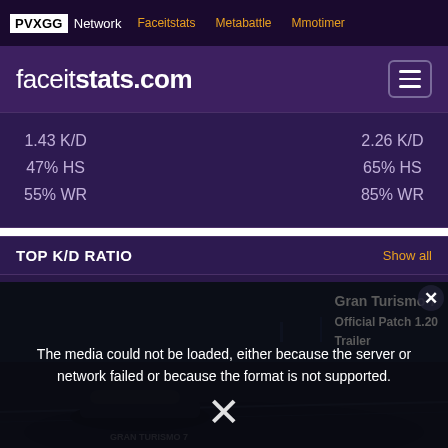PVXGG Network | Faceitstats | Metabattle | Mmotimer
faceitstats.com
1.43 K/D  47% HS  55% WR  |  2.26 K/D  65% HS  85% WR
TOP K/D RATIO  Show all
[Figure (screenshot): Two player avatar thumbnails in the TOP K/D RATIO section — one dark/black avatar on left, one character on yellow background on right]
[Figure (screenshot): Video media error overlay: 'The media could not be loaded, either because the server or network failed or because the format is not supported.' with Gran Turismo 7 Official Patch 1.20 Trailer title visible, X close button, and racing game background imagery]
[Figure (screenshot): Two more player avatar thumbnails at the bottom — anime character on left, another character on right]